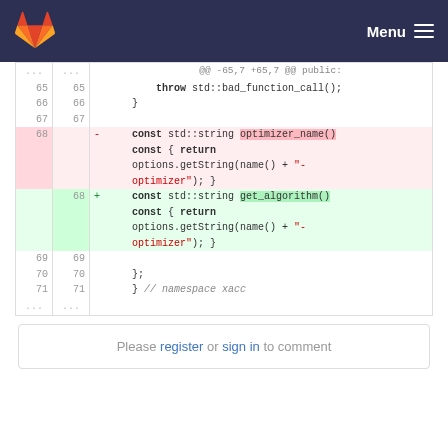[Figure (screenshot): GitLab navigation bar with fox/fox logo on left and Menu hamburger icon on right, dark navy background]
@@ -65,7 +65,7 @@ public:
Code diff showing removal of optimizer_name() method and addition of get_algorithm() method in C++ code. Lines 65-71 shown. Removed: const std::string optimizer_name() const { return options.getString(name() + "-optimizer"); }. Added: const std::string get_algorithm() const { return options.getString(name() + "-optimizer"); }
Please register or sign in to comment